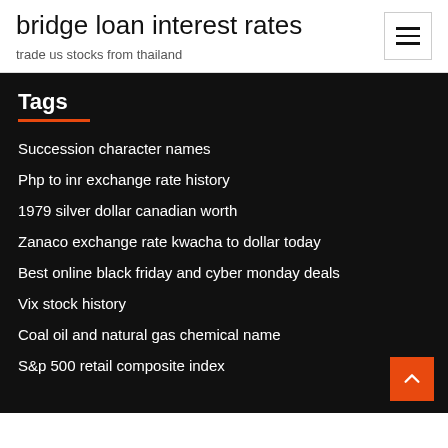bridge loan interest rates
trade us stocks from thailand
Tags
Succession character names
Php to inr exchange rate history
1979 silver dollar canadian worth
Zanaco exchange rate kwacha to dollar today
Best online black friday and cyber monday deals
Vix stock history
Coal oil and natural gas chemical name
S&p 500 retail composite index